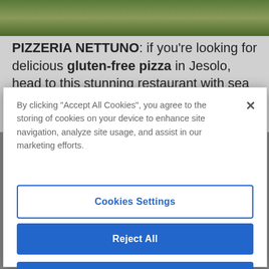[Figure (screenshot): Partial screenshot of a food article showing a pizza image at the top and article text about Pizzeria Nettuno]
PIZZERIA NETTUNO: if you’re looking for delicious gluten-free pizza in Jesolo, head to this stunning restaurant with sea views on Via Bafile
By clicking “Accept All Cookies”, you agree to the storing of cookies on your device to enhance site navigation, analyze site usage, and assist in our marketing efforts.
Cookies Settings
Reject All
Accept All Cookies